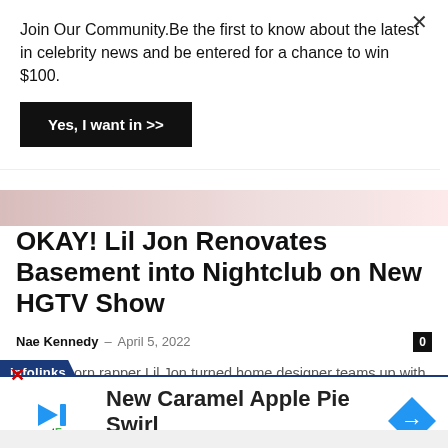Join Our Community.Be the first to know about the latest in celebrity news and be entered for a chance to win $100.
Yes, I want in >>
[Figure (photo): Partially visible image strip at the top of an article, showing blurred colorful content]
OKAY! Lil Jon Renovates Basement into Nightclub on New HGTV Show
Nae Kennedy – April 5, 2022
Atlanta-born rapper Lil Jon turned home designer teams up with an expert builder in new HGTV show, Lil Jon Wants to Do...
infolinks
[Figure (screenshot): Advertisement banner for sweetFrog: New Caramel Apple Pie Swirl with sweetFrog logo and arrow icon]